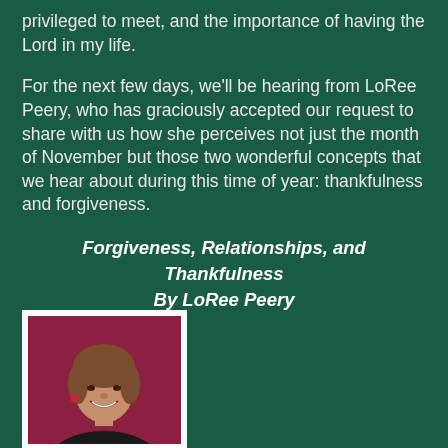privileged to meet, and the importance of having the Lord in my life.
For the next few days, we'll be hearing from LoRee Peery, who has graciously accepted our request to share with us how she perceives not just the month of November but those two wonderful concepts that we hear about during this time of year: thankfulness and forgiveness.
Forgiveness, Relationships, and Thankfulness By LoRee Peery
[Figure (photo): Portrait photo of LoRee Peery, a woman with short brown hair, smiling, wearing a black top and red earrings, against a dark red/maroon background, framed with a white border.]